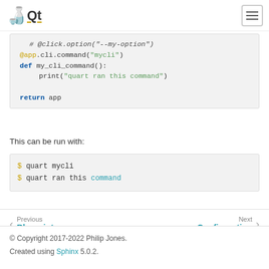Qt logo and hamburger menu
[Figure (screenshot): Code block showing Python Quart app snippet with @app.cli.command decorator, my_cli_command function, and return app statement]
This can be run with:
[Figure (screenshot): Shell code block showing: $ quart mycli and $ quart ran this command]
Previous Blueprints | Next Configuration navigation
© Copyright 2017-2022 Philip Jones. Created using Sphinx 5.0.2.